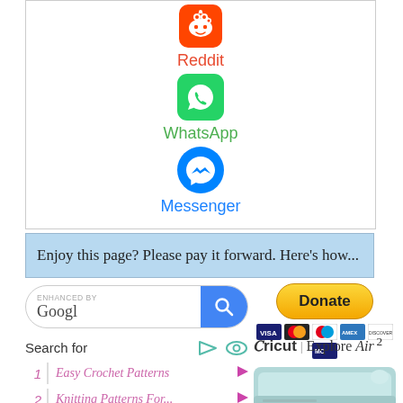[Figure (logo): Reddit icon (orange rounded square with alien mascot)]
Reddit
[Figure (logo): WhatsApp icon (green rounded square with phone/chat)]
WhatsApp
[Figure (logo): Messenger icon (blue circle with lightning bolt chat)]
Messenger
Enjoy this page? Please pay it forward. Here's how...
[Figure (screenshot): Google enhanced search box]
[Figure (screenshot): PayPal Donate button with payment card icons]
Search for
1  Easy Crochet Patterns
2  Knitting Patterns For...
[Figure (logo): Cricut Explore Air 2 advertisement with logo and machine image]